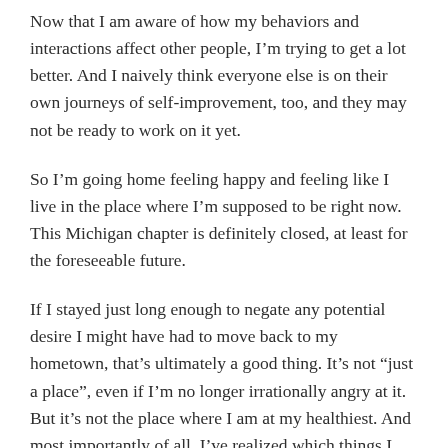Now that I am aware of how my behaviors and interactions affect other people, I'm trying to get a lot better. And I naively think everyone else is on their own journeys of self-improvement, too, and they may not be ready to work on it yet.
So I'm going home feeling happy and feeling like I live in the place where I'm supposed to be right now. This Michigan chapter is definitely closed, at least for the foreseeable future.
If I stayed just long enough to negate any potential desire I might have had to move back to my hometown, that's ultimately a good thing. It's not “just a place”, even if I'm no longer irrationally angry at it. But it's not the place where I am at my healthiest. And most importantly of all, I've realized which things I still need to fix. Resolving all